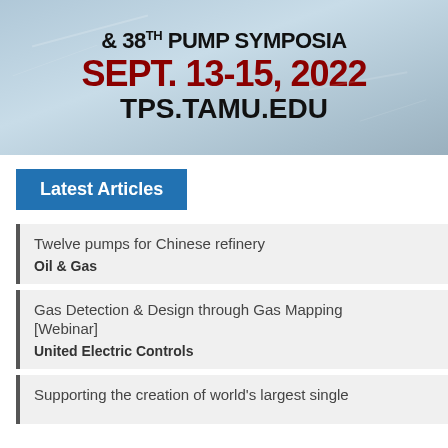[Figure (photo): Conference banner advertisement for 38th Pump Symposia, showing text '& 38TH PUMP SYMPOSIA', 'SEPT. 13-15, 2022', 'TPS.TAMU.EDU' on a light blue/grey textured background.]
Latest Articles
Twelve pumps for Chinese refinery
Oil & Gas
Gas Detection & Design through Gas Mapping [Webinar]
United Electric Controls
Supporting the creation of world's largest single